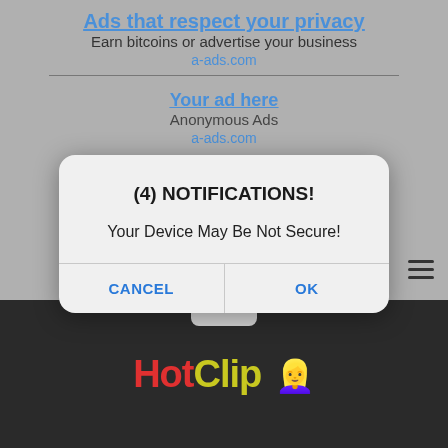Ads that respect your privacy
Earn bitcoins or advertise your business
a-ads.com
Your ad here
Anonymous Ads
a-ads.com
(4) NOTIFICATIONS!
Your Device May Be Not Secure!
CANCEL  OK
[Figure (screenshot): HotClip website logo on dark background with emoji figure]
HotClip 🧍